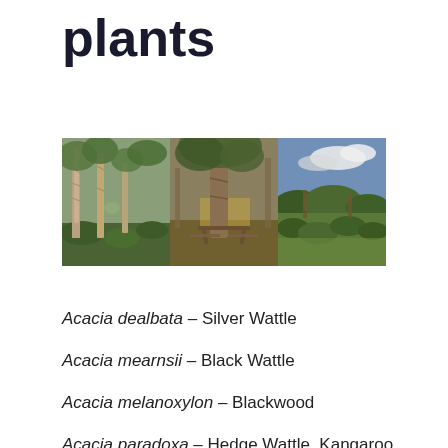plants
[Figure (photo): Three side-by-side landscape photos of Australian bush/woodland scenes featuring acacia and other native plants. Left panel: tall paperbark trees with sparse understorey. Middle panel: large eucalypt with picnic table below. Right panel: open shrubland with cloudy sky.]
Acacia dealbata – Silver Wattle
Acacia mearnsii – Black Wattle
Acacia melanoxylon – Blackwood
Acacia paradoxa – Hedge Wattle, Kangaroo Thorn